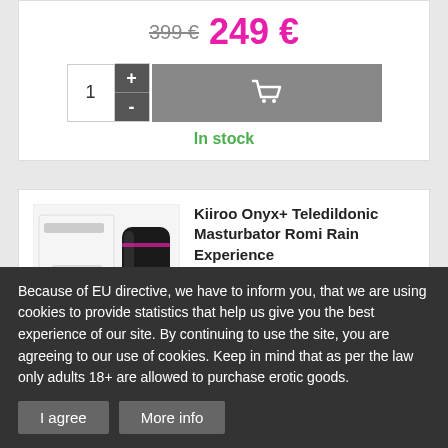399 € 249 €
1 + -
In stock
Kiiroo Onyx+ Teledildonic Masturbator Romi Rain Experience
Romi Rain is an East Coast born beauty of Italian descent. She is a multi-award winning adult performer who has featured in over 300 productions. Addicted to power and always ready for action, Romi Rain will offer you a wet and wild interactive experience.
Because of EU directive, we have to inform you, that we are using cookies to provide statistics that help us give you the best experience of our site. By continuing to use the site, you are agreeing to our use of cookies. Keep in mind that as per the law only adults 18+ are allowed to purchase erotic goods.
I agree
More info